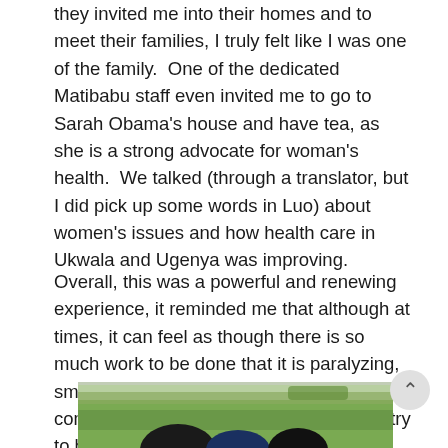they invited me into their homes and to meet their families, I truly felt like I was one of the family.  One of the dedicated Matibabu staff even invited me to go to Sarah Obama's house and have tea, as she is a strong advocate for woman's health.  We talked (through a translator, but I did pick up some words in Luo) about women's issues and how health care in Ukwala and Ugenya was improving.
Overall, this was a powerful and renewing experience, it reminded me that although at times, it can feel as though there is so much work to be done that it is paralyzing, small steps can make a big difference in communities.  And it is always worth it to try to be part of that change.
[Figure (photo): Outdoor photo showing a green grassy area with dark figures/people visible at the bottom of the frame, with vegetation and a wall or fence in the background.]